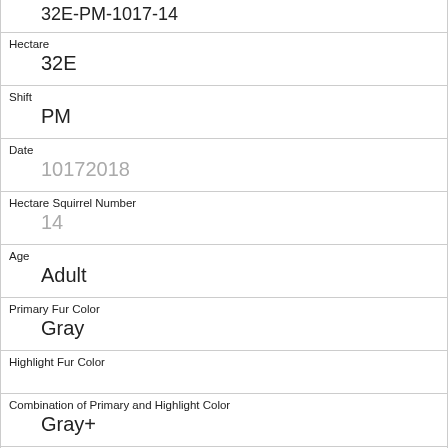32E-PM-1017-14
Hectare
32E
Shift
PM
Date
10172018
Hectare Squirrel Number
14
Age
Adult
Primary Fur Color
Gray
Highlight Fur Color
Combination of Primary and Highlight Color
Gray+
Color notes
Nothing selected as Primary. Gray selected as Highlights. Made executive adjustments.
Location